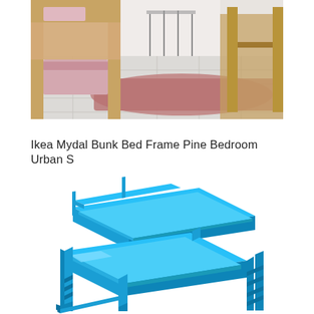[Figure (photo): Photo of a wooden bunk bed with pink/mauve bedding and a pink/dusty rose rug on a white tile floor, in a bedroom setting.]
Ikea Mydal Bunk Bed Frame Pine Bedroom Urban S
[Figure (illustration): 3D rendered illustration of a bunk bed frame in bright blue color, shown in isometric/perspective view.]